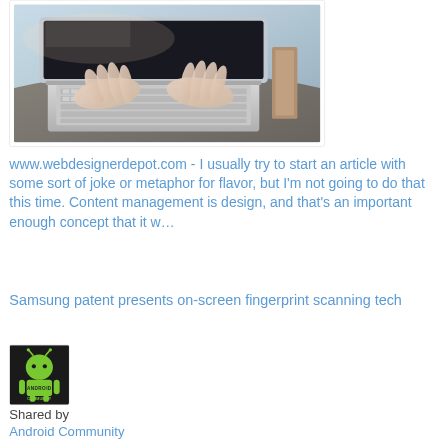[Figure (photo): Photo of hands typing on a laptop keyboard, close-up view from above, light blue/grey tones]
www.webdesignerdepot.com - I usually try to start an article with some sort of joke or metaphor for flavor, but I'm not going to do that this time. Content management is design, and that's an important enough concept that it w…
Samsung patent presents on-screen fingerprint scanning tech
[Figure (logo): Android Community logo - green Android robot on black background with 'ANDROID COMMUNITY' text]
Shared by
Android Community